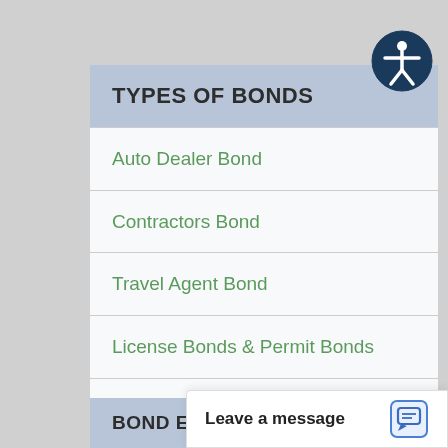[Figure (illustration): Accessibility icon — dark blue circle with white human figure arms-out symbol]
TYPES OF BONDS
Auto Dealer Bond
Contractors Bond
Travel Agent Bond
License Bonds & Permit Bonds
Performance Bonds – AIA Public and Private
Court Surety Bonds
Other Surety Bonds
BOND EDUCAT
Leave a message